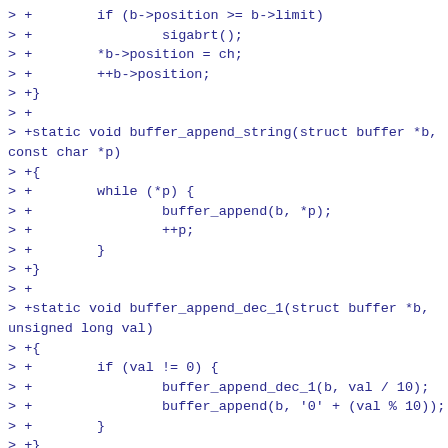> +        if (b->position >= b->limit)
> +                sigabrt();
> +        *b->position = ch;
> +        ++b->position;
> +}
> +
> +static void buffer_append_string(struct buffer *b, const char *p)
> +{
> +        while (*p) {
> +                buffer_append(b, *p);
> +                ++p;
> +        }
> +}
> +
> +static void buffer_append_dec_1(struct buffer *b, unsigned long val)
> +{
> +        if (val != 0) {
> +                buffer_append_dec_1(b, val / 10);
> +                buffer_append(b, '0' + (val % 10));
> +        }
> +}
> +
> +static void buffer_append_dec(struct buffer *b, unsigned long val)
> +{
> +        if (val == 0) {
> +                buffer_append(b, '0');
> +                return;